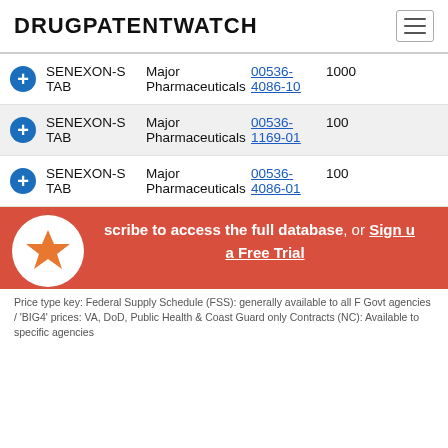DRUGPATENTWATCH
SENEXON-S TAB | Major Pharmaceuticals | 00536-4086-10 | 1000
SENEXON-S TAB | Major Pharmaceuticals | 00536-1169-01 | 100
SENEXON-S TAB | Major Pharmaceuticals | 00536-4086-01 | 100
[Figure (other): CTA banner: Subscribe to access the full database, or Sign up for a Free Trial]
Price type key: Federal Supply Schedule (FSS): generally available to all F Govt agencies / 'BIG4' prices: VA, DoD, Public Health & Coast Guard only Contracts (NC): Available to specific agencies